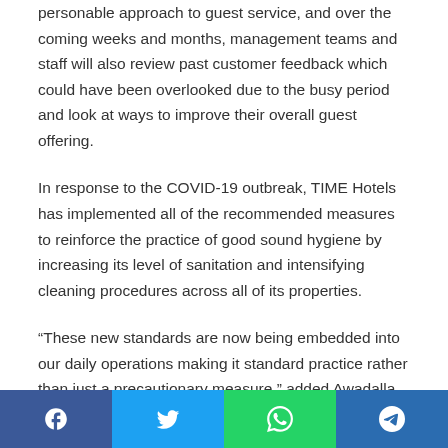personable approach to guest service, and over the coming weeks and months, management teams and staff will also review past customer feedback which could have been overlooked due to the busy period and look at ways to improve their overall guest offering.
In response to the COVID-19 outbreak, TIME Hotels has implemented all of the recommended measures to reinforce the practice of good sound hygiene by increasing its level of sanitation and intensifying cleaning procedures across all of its properties.
“These new standards are now being embedded into our daily operations making it standard practice rather than just a precautionary measure,” added Awadalla.
Social sharing bar: Facebook, Twitter, WhatsApp, Telegram